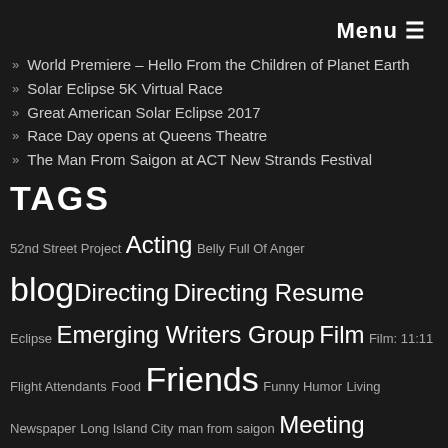Menu ☰
World Premiere – Hello From the Children of Planet Earth
Solar Eclipse 5K Virtual Race
Great American Solar Eclipse 2017
Race Day opens at Queens Theatre
The Man From Saigon at ACT New Strands Festival
TAGS
52nd Street Project Acting Belly Full Of Anger blog Directing Directing Resume Eclipse Emerging Writers Group Film Film: 11:11 Flight Attendants Food Friends Funny Humor Living Newspaper Long Island City man from saigon Meeting Mrs Hue mission to ditmars naked radio Nebraska Happenings News New York